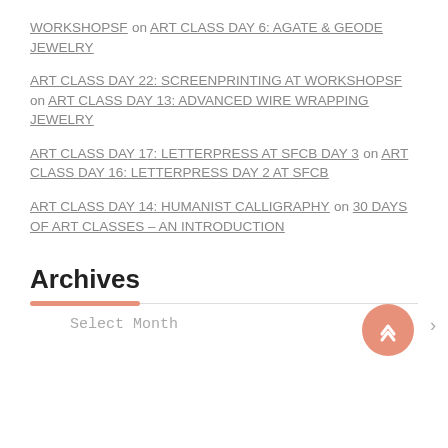WORKSHOPSF on ART CLASS DAY 6: AGATE & GEODE JEWELRY
ART CLASS DAY 22: SCREENPRINTING AT WORKSHOPSF on ART CLASS DAY 13: ADVANCED WIRE WRAPPING JEWELRY
ART CLASS DAY 17: LETTERPRESS AT SFCB DAY 3 on ART CLASS DAY 16: LETTERPRESS DAY 2 AT SFCB
ART CLASS DAY 14: HUMANIST CALLIGRAPHY on 30 DAYS OF ART CLASSES – AN INTRODUCTION
Archives
Select Month